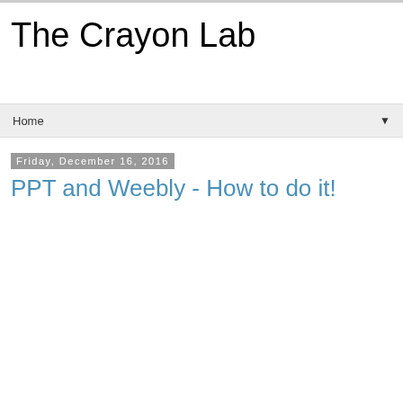The Crayon Lab
Home
Friday, December 16, 2016
PPT and Weebly - How to do it!